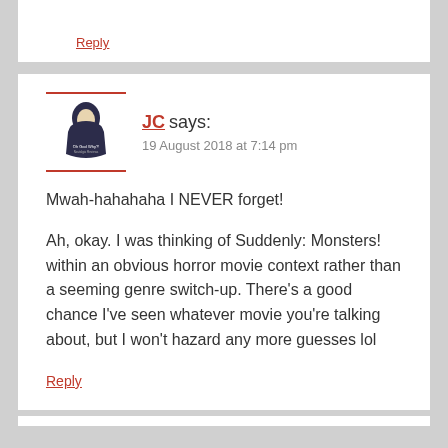Reply
JC says:
19 August 2018 at 7:14 pm
Mwah-hahahaha I NEVER forget!

Ah, okay. I was thinking of Suddenly: Monsters! within an obvious horror movie context rather than a seeming genre switch-up. There's a good chance I've seen whatever movie you're talking about, but I won't hazard any more guesses lol
Reply